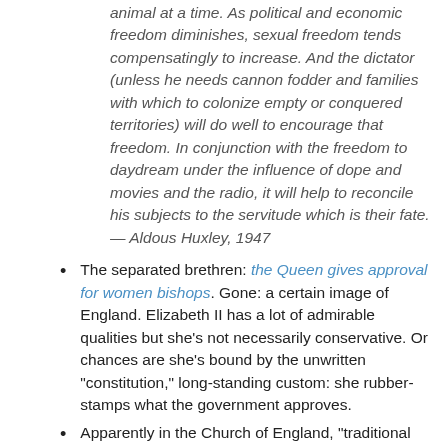animal at a time. As political and economic freedom diminishes, sexual freedom tends compensatingly to increase. And the dictator (unless he needs cannon fodder and families with which to colonize empty or conquered territories) will do well to encourage that freedom. In conjunction with the freedom to daydream under the influence of dope and movies and the radio, it will help to reconcile his subjects to the servitude which is their fate. — Aldous Huxley, 1947
The separated brethren: the Queen gives approval for women bishops. Gone: a certain image of England. Elizabeth II has a lot of admirable qualities but she's not necessarily conservative. Or chances are she's bound by the unwritten "constitution," long-standing custom: she rubber-stamps what the government approves.
Apparently in the Church of England, "traditional Anglo-Catholic" now only means "doesn't like